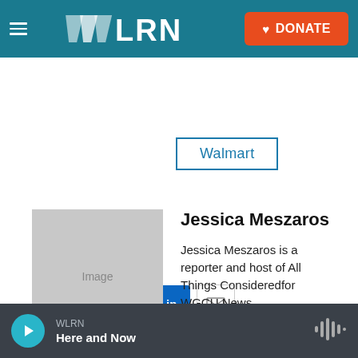[Figure (logo): WLRN radio station header with hamburger menu, WLRN logo in white on teal background, and orange DONATE button]
Walmart
[Figure (infographic): Social sharing buttons: Facebook (blue), Twitter (blue), LinkedIn (blue), Email (white/grey)]
[Figure (photo): Placeholder image box with text 'Image' for Jessica Meszaros]
Jessica Meszaros
Jessica Meszaros is a reporter and host of All Things Consideredfor WGCU News.
See stories by Jessica Meszaros
WLRN Here and Now